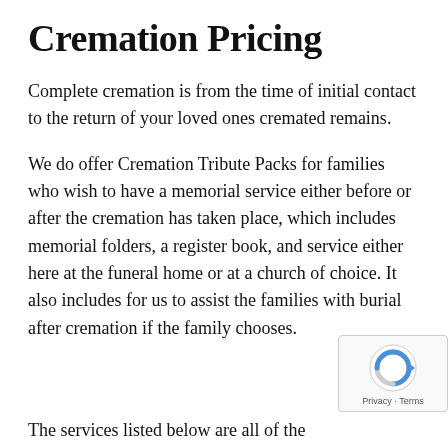Cremation Pricing
Complete cremation is from the time of initial contact to the return of your loved ones cremated remains.
We do offer Cremation Tribute Packs for families who wish to have a memorial service either before or after the cremation has taken place, which includes memorial folders, a register book, and service either here at the funeral home or at a church of choice. It also includes for us to assist the families with burial after cremation if the family chooses.
The services listed below are all of the